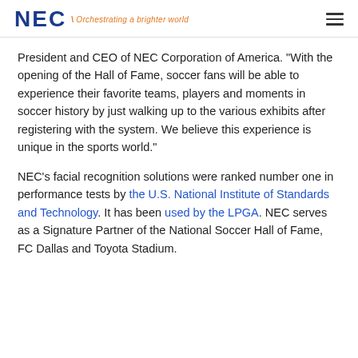NEC | Orchestrating a brighter world
President and CEO of NEC Corporation of America. "With the opening of the Hall of Fame, soccer fans will be able to experience their favorite teams, players and moments in soccer history by just walking up to the various exhibits after registering with the system. We believe this experience is unique in the sports world."
NEC's facial recognition solutions were ranked number one in performance tests by the U.S. National Institute of Standards and Technology. It has been used by the LPGA. NEC serves as a Signature Partner of the National Soccer Hall of Fame, FC Dallas and Toyota Stadium.